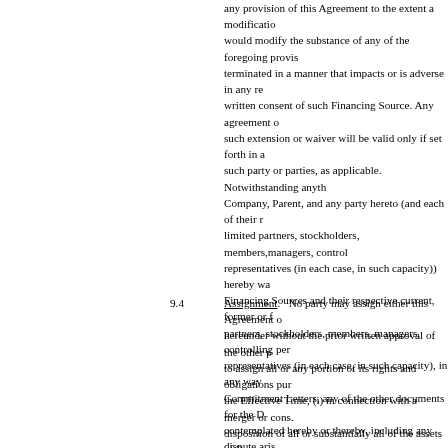any provision of this Agreement to the extent a modification would modify the substance of any of the foregoing provisions terminated in a manner that impacts or is adverse in any respect written consent of such Financing Source. Any agreement or such extension or waiver will be valid only if set forth in a such party or parties, as applicable. Notwithstanding anything Company, Parent, and any party hereto (and each of their respective limited partners, stockholders, members, managers, controlling representatives (in each case, in such capacity)) hereby waive Financing Sources and their respective current, former or future partners, stockholders, members, managers, controlling persons, representatives (in each case, in such capacity), in any way Commitment Letters, any of the other documents for the Debt Financing contemplated hereby or thereby, including any dispute arising Financing or the performance thereof, whether at law, in equity Financing Sources shall not be liable for any such action or foregoing, nothing in this Section 9.3 shall in any way limit Agreement or any obligations of the Financing Sources to
9.4 Assignment. No party may assign either this Agreement or hereunder without the prior written approval of the other parties to assign all or any portion of its rights and obligations pursuant the Effective Time, (i) in connection with a merger or consolidation disposition of all or substantially all of the assets of Parent Financing Source pursuant to the terms of the Debt Financing interest herein or otherwise assigning as collateral in respect Affiliates; provided, that in the case of clause (a)(ii) or (b), their obligations under this Agreement. Subject to the preceding binding upon and will inure to the benefit of the parties hereto